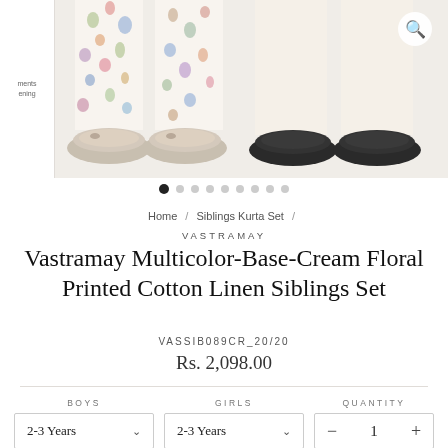[Figure (photo): Product image showing lower half of two children standing side by side - one wearing colorful floral printed pants with beige ballet flats, another wearing cream pants with black shoes. White background. Search icon in top right corner.]
Home / Siblings Kurta Set
VASTRAMAY
Vastramay Multicolor-Base-Cream Floral Printed Cotton Linen Siblings Set
VASSIB089CR_20/20
Rs. 2,098.00
BOYS: 2-3 Years  GIRLS: 2-3 Years  QUANTITY: 1